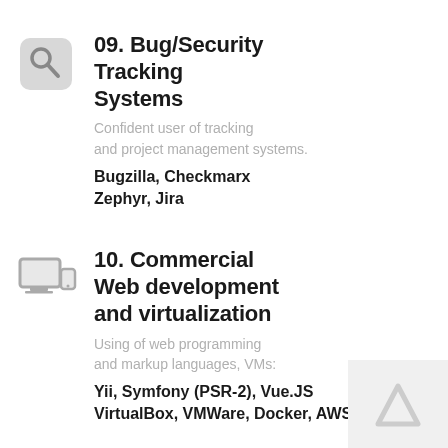[Figure (illustration): Gray magnifying glass icon]
09. Bug/Security Tracking Systems
Confident user of tracking and project management systems.
Bugzilla, Checkmarx Zephyr, Jira
[Figure (illustration): Gray desktop and mobile device icon]
10. Commercial Web development and virtualization
Using of web programming and markup languages, VMs:
Yii, Symfony (PSR-2), Vue.JS VirtualBox, VMWare, Docker, AWS
[Figure (illustration): Gray cloud upload icon]
11. Information repositories and database
[Figure (illustration): Watermark arrow logo in bottom right corner]